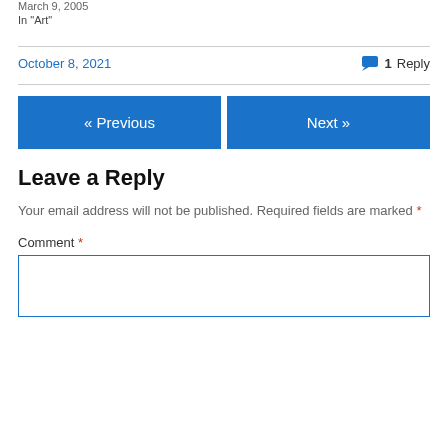March 9, 2005
In "Art"
October 8, 2021
1 Reply
« Previous
Next »
Leave a Reply
Your email address will not be published. Required fields are marked *
Comment *